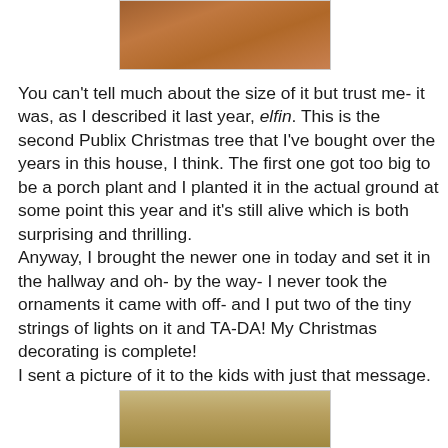[Figure (photo): Partial photo of a person wearing red, top of page]
You can't tell much about the size of it but trust me- it was, as I described it last year, elfin. This is the second Publix Christmas tree that I've bought over the years in this house, I think. The first one got too big to be a porch plant and I planted it in the actual ground at some point this year and it's still alive which is both surprising and thrilling.
Anyway, I brought the newer one in today and set it in the hallway and oh- by the way- I never took the ornaments it came with off- and I put two of the tiny strings of lights on it and TA-DA! My Christmas decorating is complete!
I sent a picture of it to the kids with just that message.
[Figure (photo): Partial photo at the bottom of page, showing what appears to be a Christmas tree area]